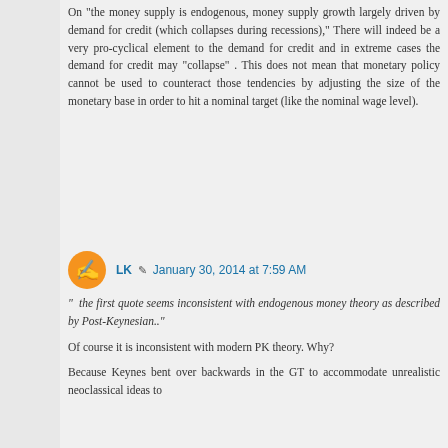On "the money supply is endogenous, money supply growth largely driven by demand for credit (which collapses during recessions)," There will indeed be a very pro-cyclical element to the demand for credit and in extreme cases the demand for credit may "collapse" . This does not mean that monetary policy cannot be used to counteract those tendencies by adjusting the size of the monetary base in order to hit a nominal target (like the nominal wage level).
LK  January 30, 2014 at 7:59 AM
" the first quote seems inconsistent with endogenous money theory as described by Post-Keynesian.."
Of course it is inconsistent with modern PK theory. Why?
Because Keynes bent over backwards in the GT to accommodate unrealistic neoclassical ideas to